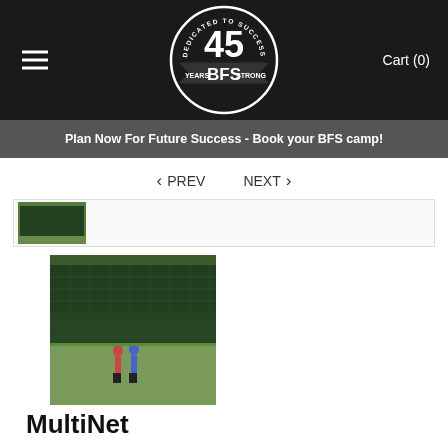[Figure (logo): BFS 45 Years Strong logo — circular badge with '45 BFS YEARS STRONG' text, white on black]
Cart (0)
Plan Now For Future Success - Book your BFS camp!
< PREV   NEXT >
[Figure (photo): Scrollable product image strip showing a baseball/softball field net panel]
[Figure (photo): Thumbnail image of two people standing in front of a large green baseball/softball net on a field]
MultiNet